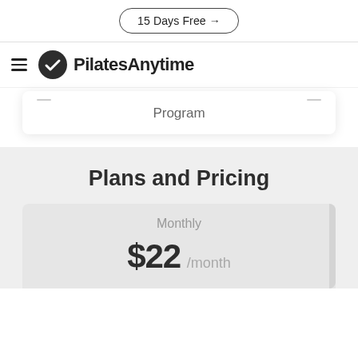15 Days Free →
[Figure (logo): PilatesAnytime logo with hamburger menu icon and circular checkmark badge]
Program
Plans and Pricing
Monthly
$22 /month